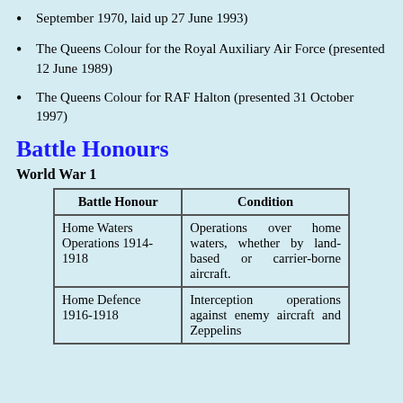September 1970, laid up 27 June 1993)
The Queens Colour for the Royal Auxiliary Air Force (presented 12 June 1989)
The Queens Colour for RAF Halton (presented 31 October 1997)
Battle Honours
World War 1
| Battle Honour | Condition |
| --- | --- |
| Home Waters Operations 1914-1918 | Operations over home waters, whether by land-based or carrier-borne aircraft. |
| Home Defence 1916-1918 | Interception operations against enemy aircraft and Zeppelins |